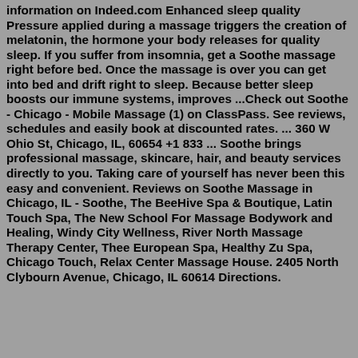information on Indeed.com Enhanced sleep quality Pressure applied during a massage triggers the creation of melatonin, the hormone your body releases for quality sleep. If you suffer from insomnia, get a Soothe massage right before bed. Once the massage is over you can get into bed and drift right to sleep. Because better sleep boosts our immune systems, improves ...Check out Soothe - Chicago - Mobile Massage (1) on ClassPass. See reviews, schedules and easily book at discounted rates. ... 360 W Ohio St, Chicago, IL, 60654 +1 833 ... Soothe brings professional massage, skincare, hair, and beauty services directly to you. Taking care of yourself has never been this easy and convenient. Reviews on Soothe Massage in Chicago, IL - Soothe, The BeeHive Spa & Boutique, Latin Touch Spa, The New School For Massage Bodywork and Healing, Windy City Wellness, River North Massage Therapy Center, Thee European Spa, Healthy Zu Spa, Chicago Touch, Relax Center Massage House. 2405 North Clybourn Avenue, Chicago, IL 60614 Directions.